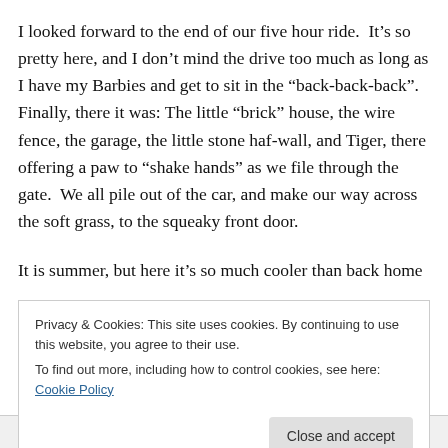I looked forward to the end of our five hour ride.  It’s so pretty here, and I don’t mind the drive too much as long as I have my Barbies and get to sit in the “back-back-back”.  Finally, there it was: The little “brick” house, the wire fence, the garage, the little stone haf-wall, and Tiger, there offering a paw to “shake hands” as we file through the gate.  We all pile out of the car, and make our way across the soft grass, to the squeaky front door.
It is summer, but here it’s so much cooler than back home in Virginia...
Privacy & Cookies: This site uses cookies. By continuing to use this website, you agree to their use.
To find out more, including how to control cookies, see here: Cookie Policy